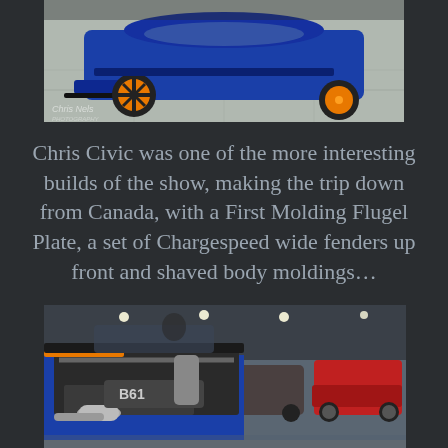[Figure (photo): Blue Honda Civic with orange wheels on display floor, seen from the front-low angle. A watermark reading 'Chris Nels Photography' is visible in the lower-left of the photo.]
Chris Civic was one of the more interesting builds of the show, making the trip down from Canada, with a First Molding Flugel Plate, a set of Chargespeed wide fenders up front and shaved body moldings…
[Figure (photo): Engine bay and interior of a blue Honda Civic with turbo setup and custom parts on display at a car show, with other cars visible in the background.]